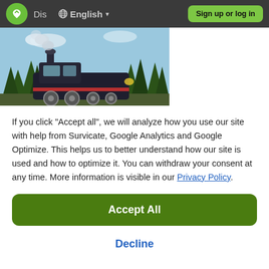Dis  🌐 English  ▾  Sign up or log in
[Figure (photo): Two-panel hero image: left panel shows a dark steam locomotive in front of evergreen trees under a blue sky; right panel shows a misty/foggy grey-green landscape.]
If you click "Accept all", we will analyze how you use our site with help from Survicate, Google Analytics and Google Optimize. This helps us to better understand how our site is used and how to optimize it. You can withdraw your consent at any time. More information is visible in our Privacy Policy.
Accept All
Decline
Details